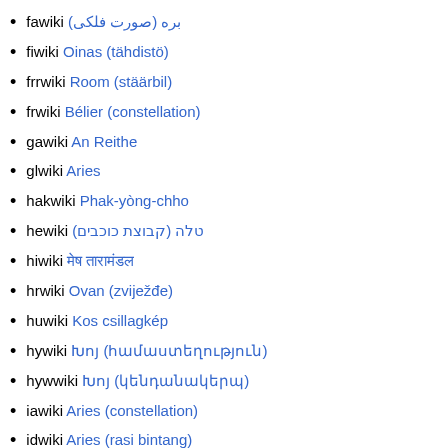fawiki بره (صورت فلکی)
fiwiki Oinas (tähdistö)
frrwiki Room (stäärbil)
frwiki Bélier (constellation)
gawiki An Reithe
glwiki Aries
hakwiki Phak-yòng-chho
hewiki טלה (קבוצת כוכבים)
hiwiki मेष तारामंडल
hrwiki Ovan (zviježđe)
huwiki Kos csillagkép
hywiki Խոյ (համաստեղություն)
hywwiki Խոյ (կենդանակերպ)
iawiki Aries (constellation)
idwiki Aries (rasi bintang)